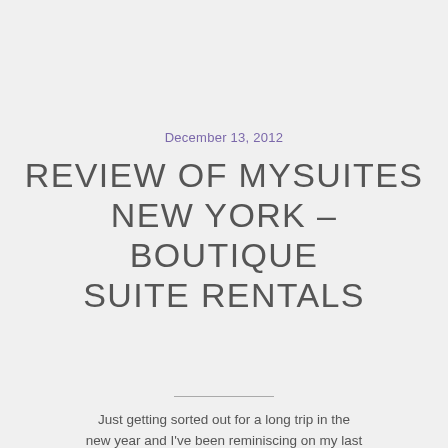December 13, 2012
REVIEW OF MYSUITES NEW YORK – BOUTIQUE SUITE RENTALS
Just getting sorted out for a long trip in the new year and Iʼve been reminiscing on my last